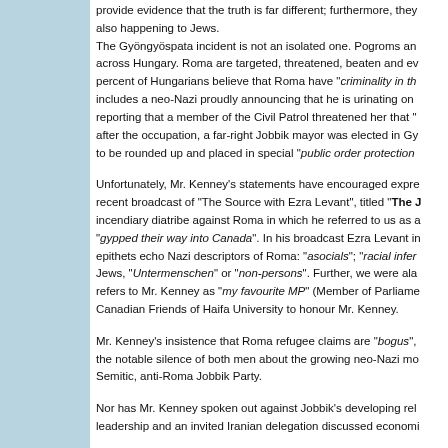provide evidence that the truth is far different; furthermore, they also happening to Jews. The Gyöngyöspata incident is not an isolated one. Pogroms and across Hungary. Roma are targeted, threatened, beaten and ev percent of Hungarians believe that Roma have "criminality in th includes a neo-Nazi proudly announcing that he is urinating on reporting that a member of the Civil Patrol threatened her that " after the occupation, a far-right Jobbik mayor was elected in Gy to be rounded up and placed in special "public order protection"
Unfortunately, Mr. Kenney's statements have encouraged expre recent broadcast of "The Source with Ezra Levant", titled "The J incendiary diatribe against Roma in which he referred to us as a "gypped their way into Canada". In his broadcast Ezra Levant in epithets echo Nazi descriptors of Roma: "asocials"; "racial infer Jews, "Untermenschen" or "non-persons". Further, we were ala refers to Mr. Kenney as "my favourite MP" (Member of Parliame Canadian Friends of Haifa University to honour Mr. Kenney.
Mr. Kenney's insistence that Roma refugee claims are "bogus", the notable silence of both men about the growing neo-Nazi mo Semitic, anti-Roma Jobbik Party.
Nor has Mr. Kenney spoken out against Jobbik's developing rel leadership and an invited Iranian delegation discussed economi